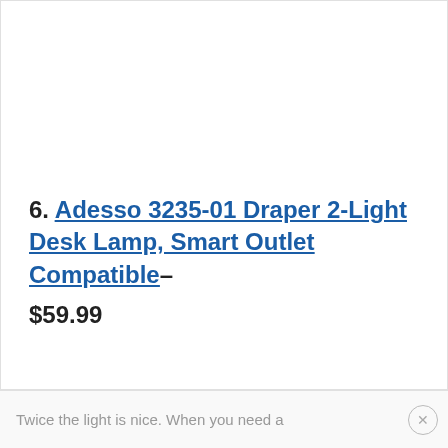6. Adesso 3235-01 Draper 2-Light Desk Lamp, Smart Outlet Compatible– $59.99
Twice the light is nice. When you need a